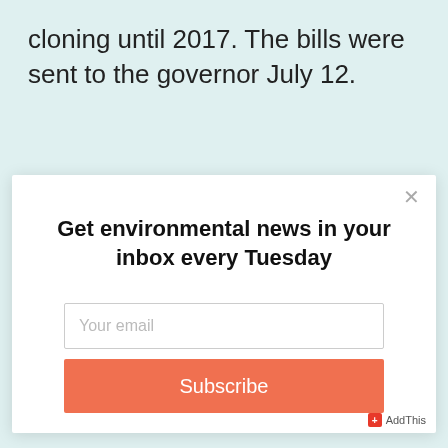cloning until 2017. The bills were sent to the governor July 12.
[Figure (screenshot): Modal popup overlay with 'Get environmental news in your inbox every Tuesday' headline, an email input field, and a Subscribe button. An X close button is in the top right. AddThis badge in bottom right.]